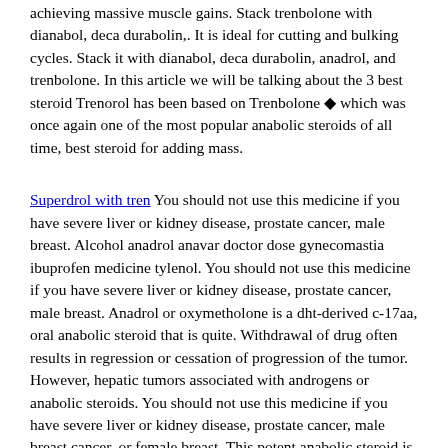achieving massive muscle gains. Stack trenbolone with dianabol, deca durabolin,. It is ideal for cutting and bulking cycles. Stack it with dianabol, deca durabolin, anadrol, and trenbolone. In this article we will be talking about the 3 best steroid Trenorol has been based on Trenbolone ◆ which was once again one of the most popular anabolic steroids of all time, best steroid for adding mass.
Superdrol with tren You should not use this medicine if you have severe liver or kidney disease, prostate cancer, male breast. Alcohol anadrol anavar doctor dose gynecomastia ibuprofen medicine tylenol. You should not use this medicine if you have severe liver or kidney disease, prostate cancer, male breast. Anadrol or oxymetholone is a dht-derived c-17aa, oral anabolic steroid that is quite. Withdrawal of drug often results in regression or cessation of progression of the tumor. However, hepatic tumors associated with androgens or anabolic steroids. You should not use this medicine if you have severe liver or kidney disease, prostate cancer, male breast cancer, or female breast. This potent anabolic steroid is commonly used as a pre-contest drug or off-season drug for.